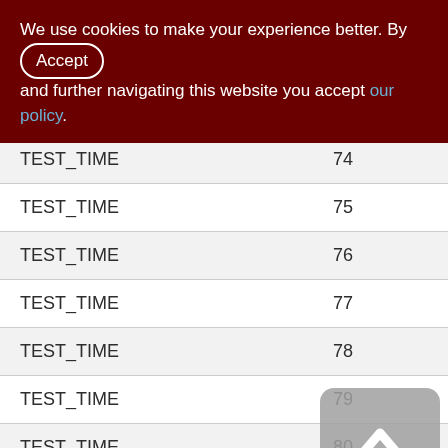We use cookies to make your experience better. By clicking [Accept] and further navigating this website you accept our policy.
| TEST_TIME | 74 |
| TEST_TIME | 75 |
| TEST_TIME | 76 |
| TEST_TIME | 77 |
| TEST_TIME | 78 |
| TEST_TIME | 79 |
| TEST_TIME | 80 |
| TEST_TIME | 81 |
| TEST_TIME | 82 |